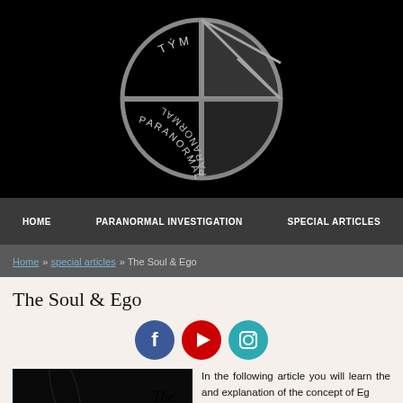[Figure (logo): Týim Paranormal circular logo with geometric cross/quarter-circle design on black background, text 'TÝM PARANORMAL' arranged in a circle around the emblem]
HOME   PARANORMAL INVESTIGATION   SPECIAL ARTICLES
Home » special articles » The Soul & Ego
The Soul & Ego
[Figure (infographic): Three circular social media icons: Facebook (blue with f), YouTube (red with play triangle), Instagram (teal with camera)]
[Figure (photo): Dark image with cursive white text reading 'The Soul']
In the following article you will learn the and explanation of the concept of Eg